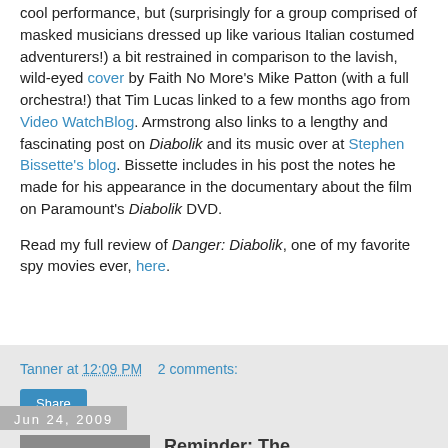cool performance, but (surprisingly for a group comprised of masked musicians dressed up like various Italian costumed adventurers!) a bit restrained in comparison to the lavish, wild-eyed cover by Faith No More's Mike Patton (with a full orchestra!) that Tim Lucas linked to a few months ago from Video WatchBlog. Armstrong also links to a lengthy and fascinating post on Diabolik and its music over at Stephen Bissette's blog. Bissette includes in his post the notes he made for his appearance in the documentary about the film on Paramount's Diabolik DVD.
Read my full review of Danger: Diabolik, one of my favorite spy movies ever, here.
Tanner at 12:09 PM   2 comments:
Share
Jun 24, 2009
Reminder: The